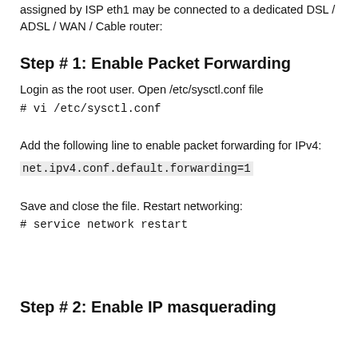assigned by ISP eth1 may be connected to a dedicated DSL / ADSL / WAN / Cable router:
Step # 1: Enable Packet Forwarding
Login as the root user. Open /etc/sysctl.conf file
# vi /etc/sysctl.conf
Add the following line to enable packet forwarding for IPv4:
net.ipv4.conf.default.forwarding=1
Save and close the file. Restart networking:
# service network restart
Step # 2: Enable IP masquerading